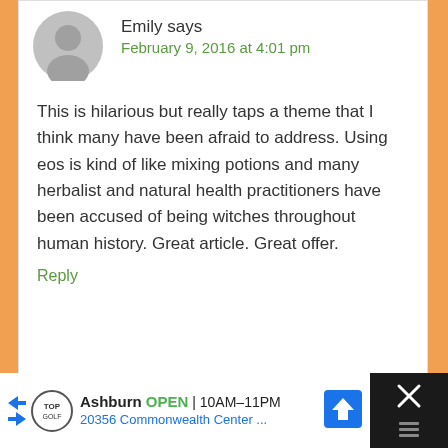Emily says
February 9, 2016 at 4:01 pm
This is hilarious but really taps a theme that I think many have been afraid to address. Using eos is kind of like mixing potions and many herbalist and natural health practitioners have been accused of being witches throughout human history. Great article. Great offer.
Reply
Emily says
February 9, 2016 at 4:03 pm
Ashburn OPEN 10AM–11PM 20356 Commonwealth Center ...